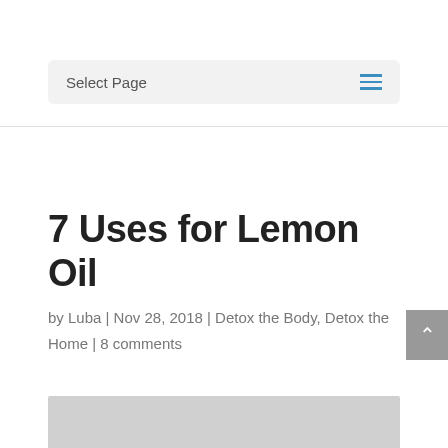Select Page
7 Uses for Lemon Oil
by Luba | Nov 28, 2018 | Detox the Body, Detox the Home | 8 comments
[Figure (photo): Bottom portion of an image placeholder (gray rectangle)]